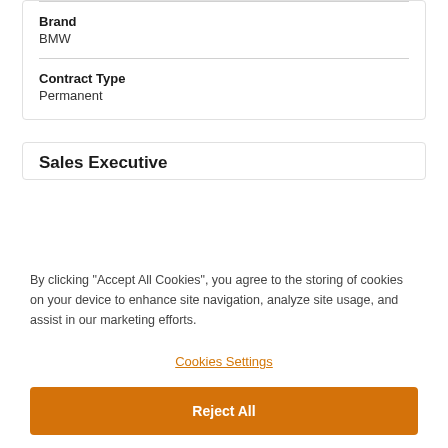Brand
BMW
Contract Type
Permanent
Sales Executive
By clicking “Accept All Cookies”, you agree to the storing of cookies on your device to enhance site navigation, analyze site usage, and assist in our marketing efforts.
Cookies Settings
Reject All
Accept All Cookies